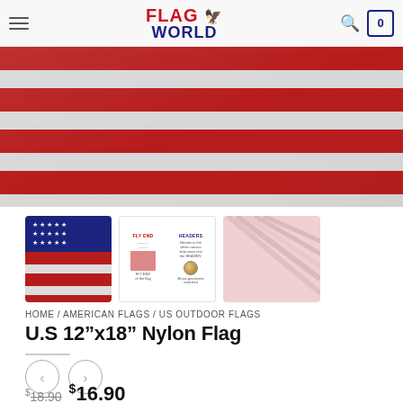FLAG WORLD — navigation header with hamburger menu, logo, search icon, cart (0)
[Figure (photo): Close-up photo of an American flag showing red and white stripes with fabric texture and sheen]
[Figure (photo): Thumbnail 1: American flag showing blue canton with white stars and red/white stripes]
[Figure (photo): Thumbnail 2: Product spec card showing FLY END and HEADERS labels with pink/red square swatch and grommet]
[Figure (photo): Thumbnail 3: Pink/rose colored fabric or packaging material]
HOME / AMERICAN FLAGS / US OUTDOOR FLAGS
U.S 12"x18" Nylon Flag
Previous / Next navigation arrows
$18.90  $16.90